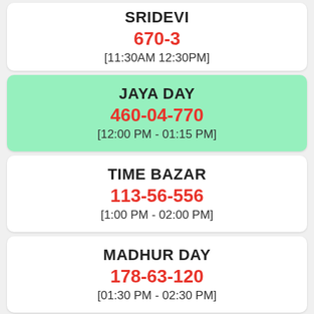SRIDEVI
670-3
[11:30AM 12:30PM]
JAYA DAY
460-04-770
[12:00 PM - 01:15 PM]
TIME BAZAR
113-56-556
[1:00 PM - 02:00 PM]
MADHUR DAY
178-63-120
[01:30 PM - 02:30 PM]
TARA MUMBAI DAY